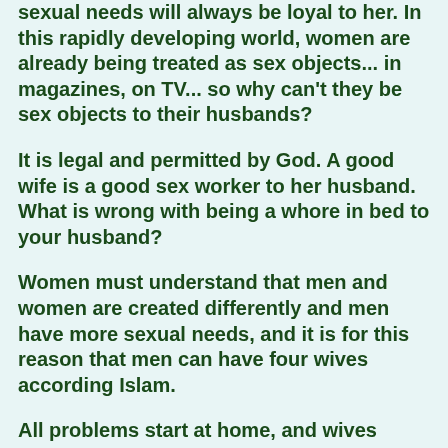sexual needs will always be loyal to her. In this rapidly developing world, women are already being treated as sex objects... in magazines, on TV... so why can't they be sex objects to their husbands?
It is legal and permitted by God. A good wife is a good sex worker to her husband. What is wrong with being a whore in bed to your husband?
Women must understand that men and women are created differently and men have more sexual needs, and it is for this reason that men can have four wives according Islam.
All problems start at home, and wives must take charge of looking after their husbands and children well".
Rohaya said that the international edition of the club was launched on May 1 in Amman, Jordan and they have about